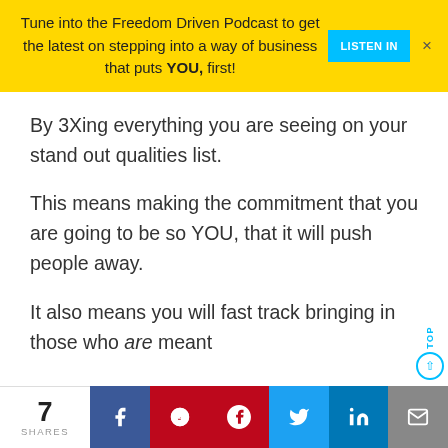Tune into the Freedom Driven Podcast to get the latest on stepping into a way of business that puts YOU, first! LISTEN IN
By 3Xing everything you are seeing on your stand out qualities list.
This means making the commitment that you are going to be so YOU, that it will push people away.
It also means you will fast track bringing in those who are meant
7 SHARES  Facebook  Pinterest  Twitter  LinkedIn  Email